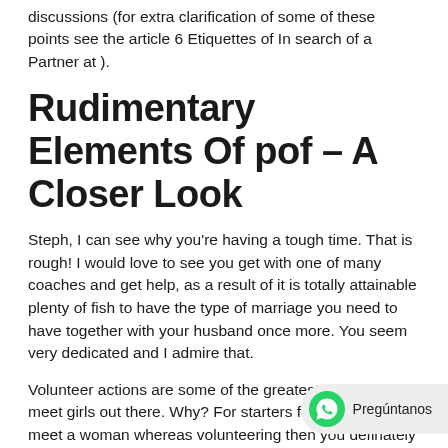discussions (for extra clarification of some of these points see the article 6 Etiquettes of In search of a Partner at ).
Rudimentary Elements Of pof – A Closer Look
Steph, I can see why you're having a tough time. That is rough! I would love to see you get with one of many coaches and get help, as a result of it is totally attainable plenty of fish to have the type of marriage you need to have together with your husband once more. You seem very dedicated and I admire that.
Volunteer actions are some of the greatest places to meet girls out there. Why? For starters for those who meet a woman whereas volunteering then you definately already know you could have related pursuits and passions. So that you're starting off with an important founda kind of relationship you choose to pursue. Second, the kings